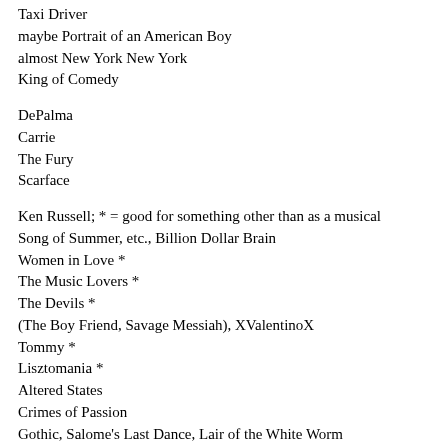Taxi Driver
maybe Portrait of an American Boy
almost New York New York
King of Comedy
DePalma
Carrie
The Fury
Scarface
Ken Russell; * = good for something other than as a musical
Song of Summer, etc., Billion Dollar Brain
Women in Love *
The Music Lovers *
The Devils *
(The Boy Friend, Savage Messiah), XValentinoX
Tommy *
Lisztomania *
Altered States
Crimes of Passion
Gothic, Salome's Last Dance, Lair of the White Worm
he was also ARIA organizer
Other Musicals I believe are worthwhile -- because at least I've seen them